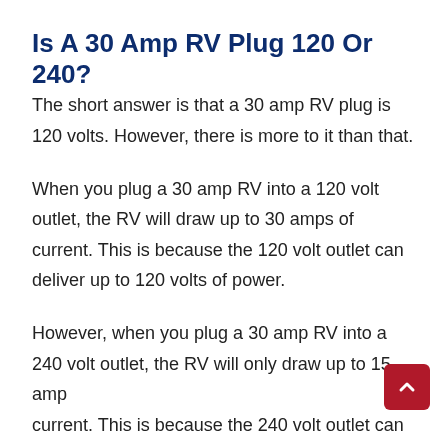Is A 30 Amp RV Plug 120 Or 240?
The short answer is that a 30 amp RV plug is 120 volts. However, there is more to it than that.
When you plug a 30 amp RV into a 120 volt outlet, the RV will draw up to 30 amps of current. This is because the 120 volt outlet can deliver up to 120 volts of power.
However, when you plug a 30 amp RV into a 240 volt outlet, the RV will only draw up to 15 amps of current. This is because the 240 volt outlet can